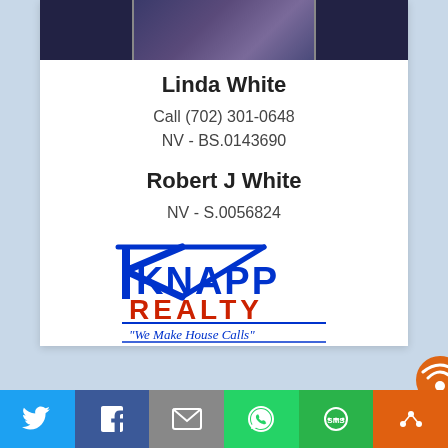[Figure (photo): Photo of Linda White, partially visible, dark background with blue/purple tones]
Linda White
Call (702) 301-0648
NV - BS.0143690
Robert J White
NV - S.0056824
[Figure (logo): Knapp Realty logo — blue roofline K graphic, blue KNAPP text, red REALTY text, tagline 'We Make House Calls' in italic]
[Figure (infographic): Social share bar with Twitter, Facebook, Email, WhatsApp, SMS, and share buttons]